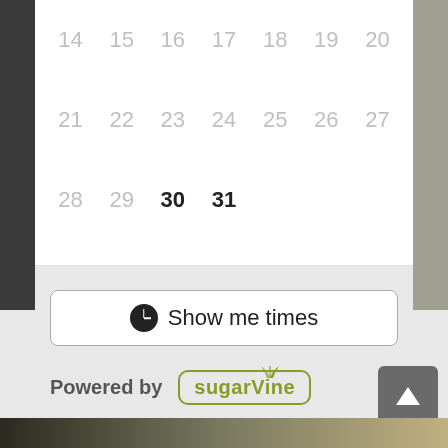[Figure (screenshot): Partial calendar grid showing dates 14-20, 21-27, 28-31 with dates 30 and 31 highlighted/active. Below is a 'Show me times' button. Below that is a 'Powered by sugarvine' branding. A back-to-top button is visible at bottom right.]
Show me times
Powered by sugarvine